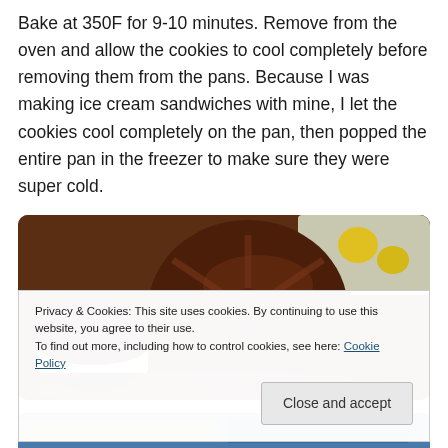Bake at 350F for 9-10 minutes. Remove from the oven and allow the cookies to cool completely before removing them from the pans. Because I was making ice cream sandwiches with mine, I let the cookies cool completely on the pan, then popped the entire pan in the freezer to make sure they were super cold.
[Figure (photo): Close-up photo of chocolate cookies with cream filling — ice cream sandwiches — on a plate. Chocolate cookie with flower/star pattern visible on top, white ice cream filling visible on the side.]
Privacy & Cookies: This site uses cookies. By continuing to use this website, you agree to their use.
To find out more, including how to control cookies, see here: Cookie Policy
Close and accept
[Figure (photo): Partial view of another food photo at the bottom of the page, mostly cut off, showing a blue-tinted image.]